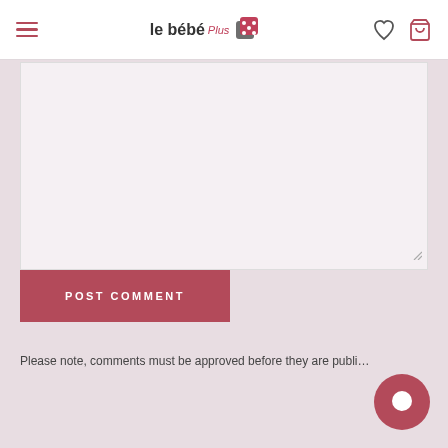le bébé Plus
[Figure (screenshot): Empty textarea / comment input box with resize handle in bottom-right corner, light pinkish background]
[Figure (other): POST COMMENT button — dark rose/mauve rectangular button with white uppercase bold text]
Please note, comments must be approved before they are publi…
[Figure (other): Chat bubble icon — circular dark rose button with white speech bubble icon]